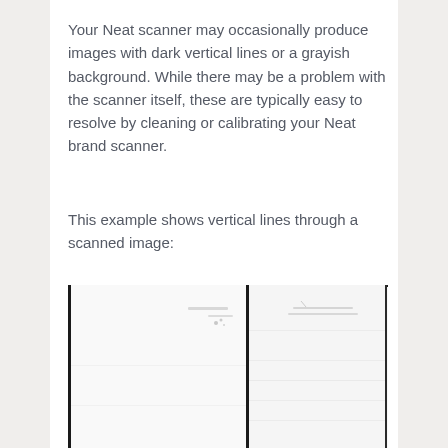Your Neat scanner may occasionally produce images with dark vertical lines or a grayish background. While there may be a problem with the scanner itself, these are typically easy to resolve by cleaning or calibrating your Neat brand scanner.
This example shows vertical lines through a scanned image:
[Figure (photo): A scanned image showing dark vertical lines artifacts — two thick black vertical lines dividing the image into sections, with faint grayish content and horizontal lines visible in the background on the right side.]